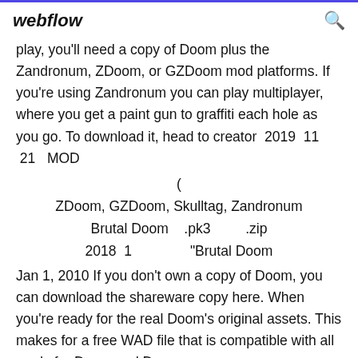webflow
play, you'll need a copy of Doom plus the Zandronum, ZDoom, or GZDoom mod platforms. If you're using Zandronum you can play multiplayer, where you get a paint gun to graffiti each hole as you go. To download it, head to creator  2019  11  21   MOD
(
ZDoom, GZDoom, Skulltag, Zandronum
Brutal Doom    .pk3          .zip
2018  1              "Brutal Doom
Jan 1, 2010 If you don't own a copy of Doom, you can download the shareware copy here. When you're ready for the real Doom's original assets. This makes for a free WAD file that is compatible with all mods for Doom and Doom